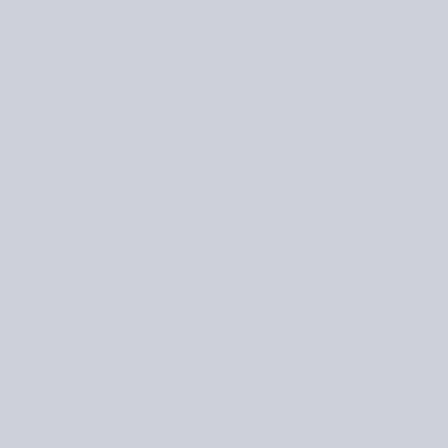...this right system miniatur...
All it tak wiki, pe...
Very litth some ne anxious mind om ridiculo because but simp up too r...
Bo...
We don 80% su manufa...